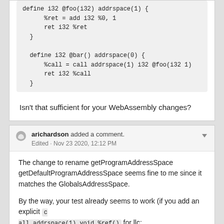define i32 @foo(i32) addrspace(1) {
    %ret = add i32 %0, 1
    ret i32 %ret
}

define i32 @bar() addrspace(0) {
    %call = call addrspace(1) i32 @foo(i32 1)
    ret i32 %call
}
Isn't that sufficient for your WebAssembly changes?
arichardson added a comment. Edited · Nov 23 2020, 12:12 PM
The change to rename getProgramAddressSpace getDefaultProgramAddressSpace seems fine to me since it matches the GlobalsAddressSpace.

By the way, your test already seems to work (if you add an explicit call addrspace(1) void %ref() for llc:
https://godbolt.org/z/arj9M9